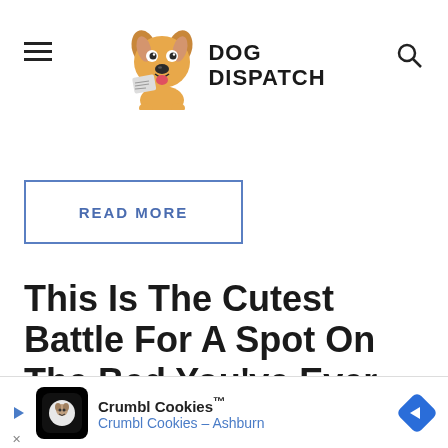DOG DISPATCH
READ MORE
This Is The Cutest Battle For A Spot On The Bed You've Ever Seen
Oct 26, 2018  ·  Leave a Comment
[Figure (other): Advertisement banner: Crumbl Cookies - Crumbl Cookies Ashburn]